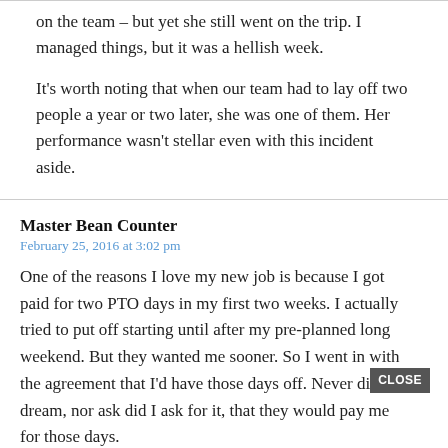on the team – but yet she still went on the trip. I managed things, but it was a hellish week.

It's worth noting that when our team had to lay off two people a year or two later, she was one of them. Her performance wasn't stellar even with this incident aside.
Master Bean Counter
February 25, 2016 at 3:02 pm
One of the reasons I love my new job is because I got paid for two PTO days in my first two weeks. I actually tried to put off starting until after my pre-planned long weekend. But they wanted me sooner. So I went in with the agreement that I'd have those days off. Never did I dream, nor ask did I ask for it, that they would pay me for those days.